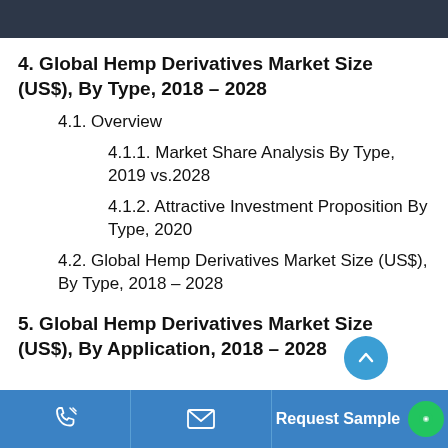4. Global Hemp Derivatives Market Size (US$), By Type, 2018 – 2028
4.1. Overview
4.1.1. Market Share Analysis By Type, 2019 vs.2028
4.1.2. Attractive Investment Proposition By Type, 2020
4.2. Global Hemp Derivatives Market Size (US$), By Type, 2018 – 2028
5. Global Hemp Derivatives Market Size (US$), By Application, 2018 – 2028
Request Sample